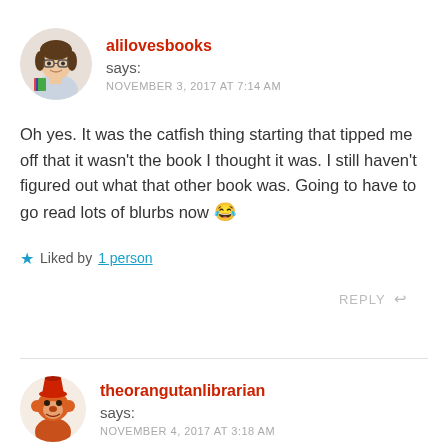alilovesbooks says: NOVEMBER 3, 2017 AT 7:14 AM
Oh yes. It was the catfish thing starting that tipped me off that it wasn't the book I thought it was. I still haven't figured out what that other book was. Going to have to go read lots of blurbs now 😂
★ Liked by 1 person
REPLY
theorangutanlibrarian says: NOVEMBER 4, 2017 AT 3:18 AM